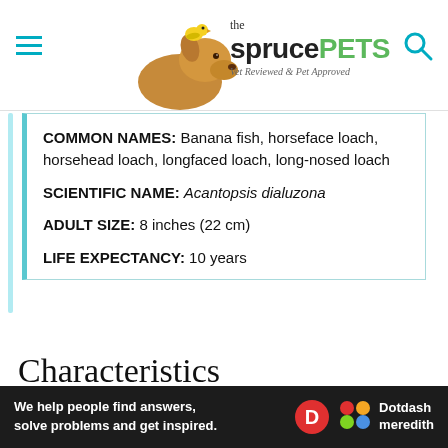the sprucePETS — Vet Reviewed & Pet Approved
COMMON NAMES: Banana fish, horseface loach, horsehead loach, longfaced loach, long-nosed loach
SCIENTIFIC NAME: Acantopsis dialuzona
ADULT SIZE: 8 inches (22 cm)
LIFE EXPECTANCY: 10 years
Characteristics
| Family | Cobitidae |
| --- | --- |